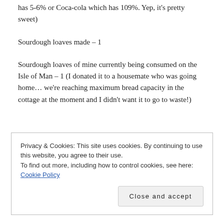has 5-6% or Coca-cola which has 109%. Yep, it's pretty sweet)
Sourdough loaves made – 1
Sourdough loaves of mine currently being consumed on the Isle of Man – 1 (I donated it to a housemate who was going home… we're reaching maximum bread capacity in the cottage at the moment and I didn't want it to go to waste!)
Privacy & Cookies: This site uses cookies. By continuing to use this website, you agree to their use.
To find out more, including how to control cookies, see here: Cookie Policy
Close and accept